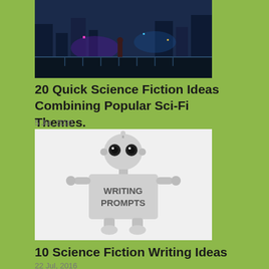[Figure (photo): A person standing on a bridge or platform in a futuristic sci-fi cityscape at night with colorful lights]
20 Quick Science Fiction Ideas Combining Popular Sci-Fi Themes.
5 Jul, 2020
[Figure (photo): A white toy robot holding a sign that reads WRITING PROMPTS on a white background]
10 Science Fiction Writing Ideas
22 Jul, 2016
[Figure (photo): Two men with beards and glasses looking surprised, partially visible at bottom of page]